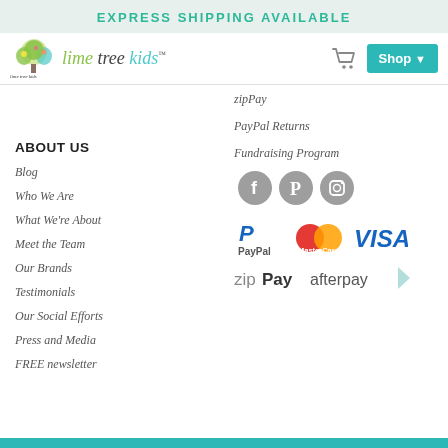EXPRESS SHIPPING AVAILABLE
[Figure (logo): Lime Tree Kids logo with tree illustration and stylized text]
zipPay
PayPal Returns
Fundraising Program
[Figure (illustration): Social media icons: Facebook, Pinterest, Instagram]
ABOUT US
Blog
Who We Are
What We're About
Meet the Team
Our Brands
Testimonials
Our Social Efforts
Press and Media
FREE newsletter
[Figure (illustration): Payment method logos: PayPal, MasterCard, VISA, zipPay, afterpay]